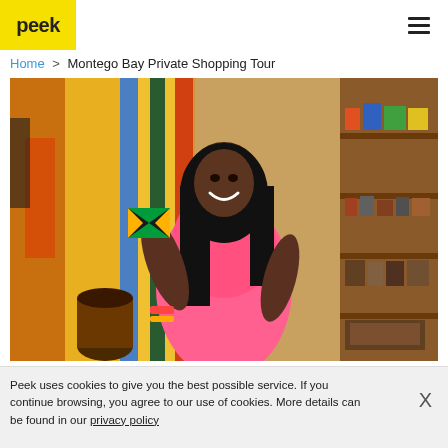peek | Montego Bay Private Shopping Tour
Home > Montego Bay Private Shopping Tour
[Figure (photo): Woman in pink dress smiling and holding a Jamaican flag inside a souvenir shop in Montego Bay, Jamaica. Colorful clothing and shelves of souvenirs visible in the background.]
Peek uses cookies to give you the best possible service. If you continue browsing, you agree to our use of cookies. More details can be found in our privacy policy